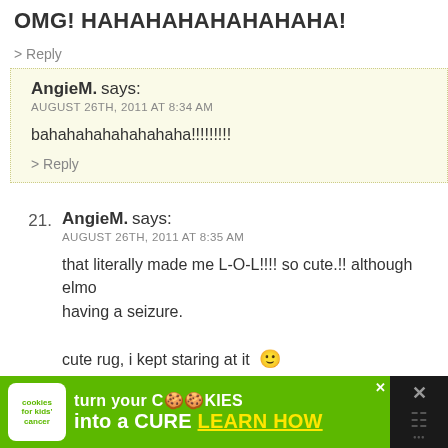OMG! HAHAHAHAHAHAHAHA!
> Reply
AngieM. says:
AUGUST 26TH, 2011 AT 8:34 AM
bahahahahahahahaha!!!!!!!!!
> Reply
21. AngieM. says: AUGUST 26TH, 2011 AT 8:35 AM — that literally made me L-O-L!!!! so cute.!! although elmo having a seizure. cute rug, i kept staring at it :) — > Reply
22. Rebecca says: AUGUST 26TH, 2011 AT 8:56 AM
[Figure (screenshot): Advertisement banner: cookies for kids cancer — turn your COOKIES into a CURE LEARN HOW]